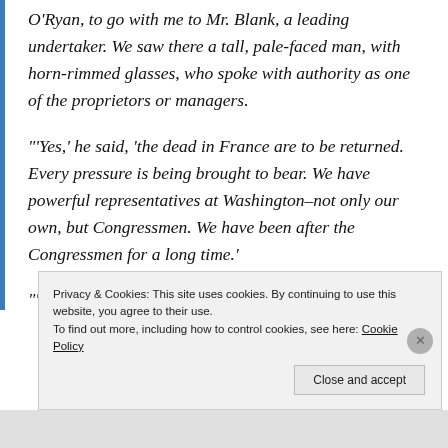O'Ryan, to go with me to Mr. Blank, a leading undertaker. We saw there a tall, pale-faced man, with horn-rimmed glasses, who spoke with authority as one of the proprietors or managers.
"'Yes,' he said, 'the dead in France are to be returned. Every pressure is being brought to bear. We have powerful representatives at Washington–not only our own, but Congressmen. We have been after the Congressmen for a long time.'
"'Are you sending embalmers over?'
Privacy & Cookies: This site uses cookies. By continuing to use this website, you agree to their use.
To find out more, including how to control cookies, see here: Cookie Policy